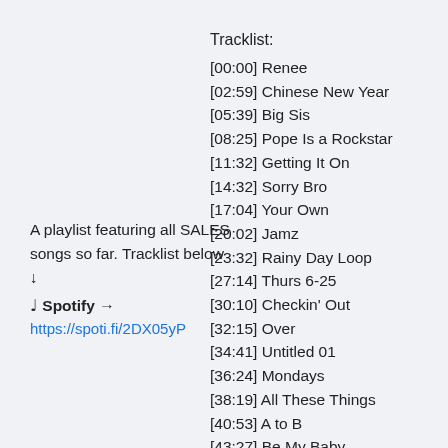A playlist featuring all SALES songs so far. Tracklist below ↓
♩ Spotify →
https://spoti.fi/2DX05yP
Tracklist:
[00:00] Renee
[02:59] Chinese New Year
[05:39] Big Sis
[08:25] Pope Is a Rockstar
[11:32] Getting It On
[14:32] Sorry Bro
[17:04] Your Own
[20:02] Jamz
[23:32] Rainy Day Loop
[27:14] Thurs 6-25
[30:10] Checkin' Out
[32:15] Over
[34:41] Untitled 01
[36:24] Mondays
[38:19] All These Things
[40:53] A to B
[43:27] Be My Baby